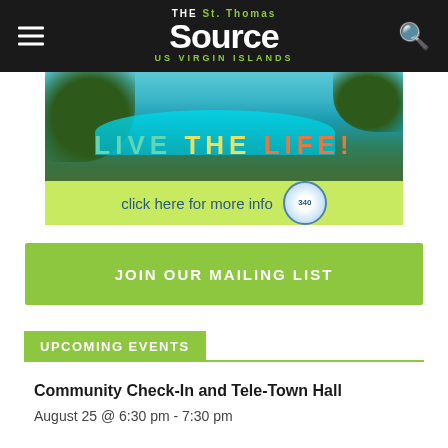THE St. Thomas Source US VIRGIN ISLANDS
[Figure (photo): Advertisement banner showing tropical beach scene with turquoise water and green hills. Text reads 'LIVE THE LIFE!' and 'click here for more info' with a circular badge numbered 340.]
JOIN OUR MAILING LIST
UPCOMING EVENTS
Community Check-In and Tele-Town Hall
August 25 @ 6:30 pm - 7:30 pm